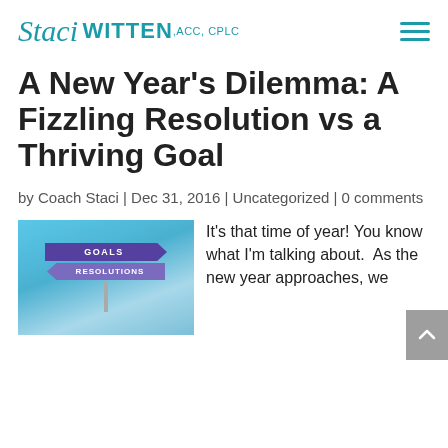Staci WITTEN, ACC, CPLC
A New Year’s Dilemma: A Fizzling Resolution vs a Thriving Goal
by Coach Staci | Dec 31, 2016 | Uncategorized | 0 comments
[Figure (photo): Road sign with two arrow signs against a blue sky: top arrow pointing right labeled GOALS in purple, bottom arrow pointing left labeled RESOLUTIONS in purple]
It’s that time of year! You know what I’m talking about.  As the new year approaches, we